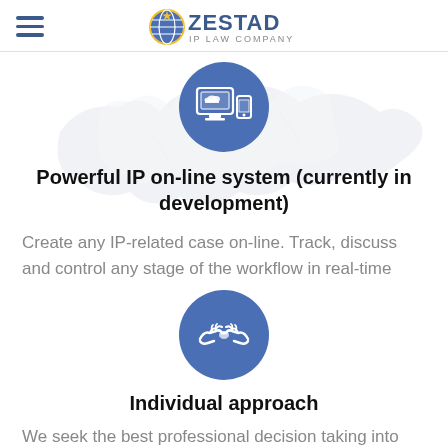ZESTAD IP LAW COMPANY
[Figure (illustration): Blue circle icon with computer monitor and mobile phone with cloud symbol above, overlaid on a light grey Europe map background]
Powerful IP on-line system (currently in development)
Create any IP-related case on-line. Track, discuss and control any stage of the workflow in real-time
[Figure (illustration): Blue circle icon with two hands shaking (handshake)]
Individual approach
We seek the best professional decision taking into account all your individual requests and following